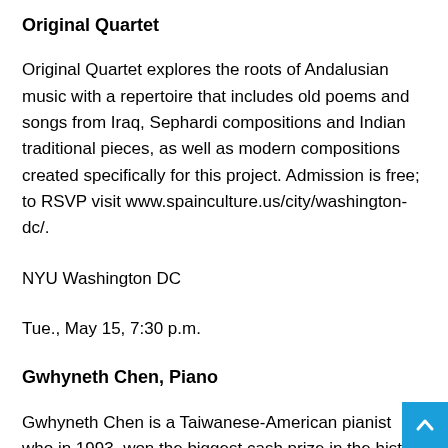Original Quartet
Original Quartet explores the roots of Andalusian music with a repertoire that includes old poems and songs from Iraq, Sephardi compositions and Indian traditional pieces, as well as modern compositions created specifically for this project. Admission is free; to RSVP visit www.spainculture.us/city/washington-dc/.
NYU Washington DC
Tue., May 15, 7:30 p.m.
Gwhyneth Chen, Piano
Gwhyneth Chen is a Taiwanese-American pianist who in 1993, won the biggest cash prize in the history of piano